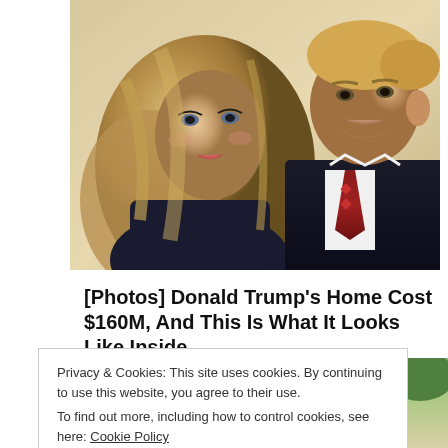[Figure (photo): Photo of Melania Trump and Donald Trump standing together, Melania in foreground with long blonde hair, Donald in dark suit with red tie]
[Photos] Donald Trump's Home Cost $160M, And This Is What It Looks Like Inside
BuzzAura
[Figure (photo): Partial view of a building exterior with trees]
Privacy & Cookies: This site uses cookies. By continuing to use this website, you agree to their use.
To find out more, including how to control cookies, see here: Cookie Policy
Close and accept